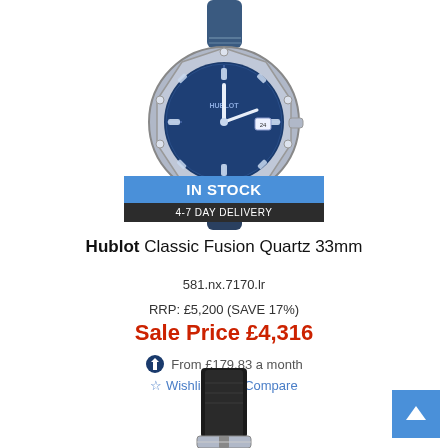[Figure (photo): Hublot Classic Fusion Quartz 33mm watch with blue dial and blue leather strap, silver case, on white background with 'IN STOCK / 4-7 DAY DELIVERY' banner overlay]
Hublot Classic Fusion Quartz 33mm
581.nx.7170.lr
RRP: £5,200 (SAVE 17%)
Sale Price £4,316
From £179.83 a month
☆ Wishlist | □ Compare
[Figure (photo): Watch strap/buckle detail, black leather strap with silver buckle, partially visible at bottom of page]